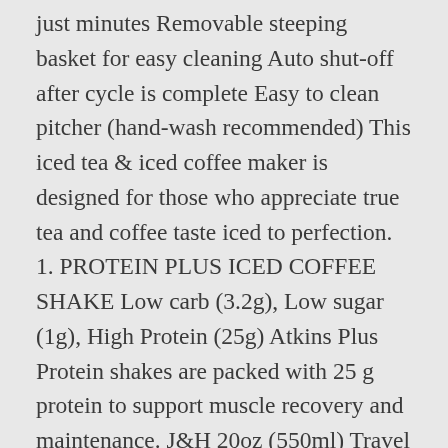just minutes Removable steeping basket for easy cleaning Auto shut-off after cycle is complete Easy to clean pitcher (hand-wash recommended) This iced tea & iced coffee maker is designed for those who appreciate true tea and coffee taste iced to perfection. 1. PROTEIN PLUS ICED COFFEE SHAKE Low carb (3.2g), Low sugar (1g), High Protein (25g) Atkins Plus Protein shakes are packed with 25 g protein to support muscle recovery and maintenance. J&H 20oz (550ml) Travel Tumbler Double Wall Vacuum Insulated Coffee Mug Stainless Steel Coffee Cup with 2 Splash Proof Lid, 2 Straws & Free Cleaning Brush, BPA Free - Red, Travel Mug, Stainless Steel Insulated